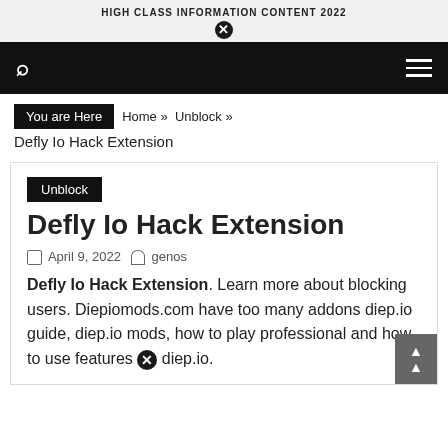HIGH CLASS INFORMATION CONTENT 2022
You are Here  Home »  Unblock »
Defly Io Hack Extension
Unblock
Defly Io Hack Extension
April 9, 2022  genos
Defly Io Hack Extension. Learn more about blocking users. Diepiomods.com have too many addons diep.io guide, diep.io mods, how to play professional and how to use features diep.io.